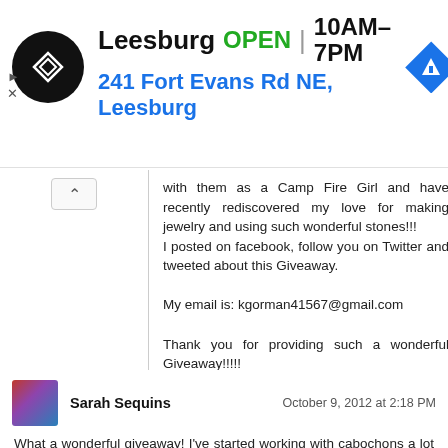[Figure (screenshot): Advertisement banner for a store in Leesburg showing logo, open status, hours, and address]
with them as a Camp Fire Girl and have recently rediscovered my love for making jewelry and using such wonderful stones!!!
I posted on facebook, follow you on Twitter and tweeted about this Giveaway.

My email is: kgorman41567@gmail.com

Thank you for providing such a wonderful Giveaway!!!!!

Kim Gorman
Sarah Sequins
October 9, 2012 at 2:18 PM
What a wonderful giveaway! I've started working with cabochons a lot lately, and I love it.